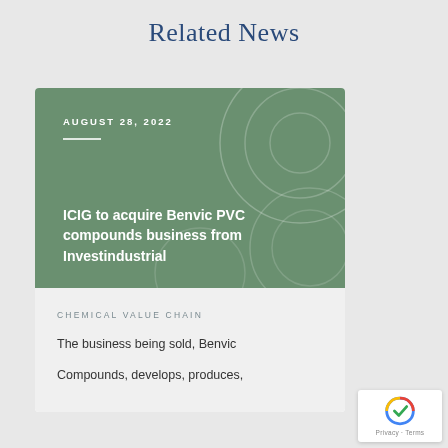Related News
[Figure (illustration): Green card image with decorative spiral/circle line art overlay, showing date AUGUST 28, 2022 and headline: ICIG to acquire Benvic PVC compounds business from Investindustrial]
CHEMICAL VALUE CHAIN
The business being sold, Benvic Compounds, develops, produces,